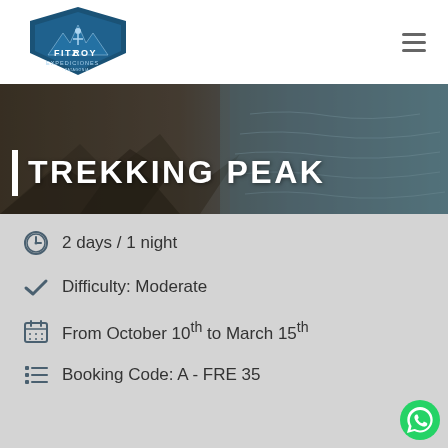[Figure (logo): Fitzroy Expediciones logo — mountain/shield emblem with text FITZ ROY EXPEDICIONES]
| TREKKING PEAK
2 days / 1 night
Difficulty: Moderate
From October 10th to March 15th
Booking Code: A - FRE 35